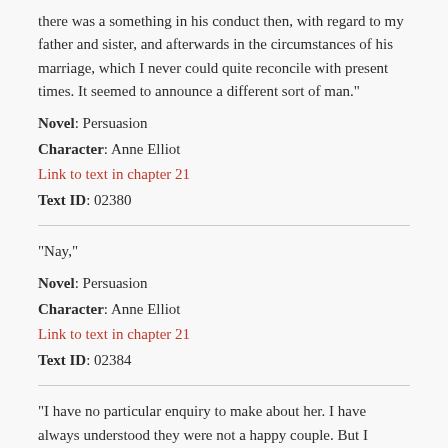there was a something in his conduct then, with regard to my father and sister, and afterwards in the circumstances of his marriage, which I never could quite reconcile with present times. It seemed to announce a different sort of man."
Novel: Persuasion
Character: Anne Elliot
Link to text in chapter 21
Text ID: 02380
"Nay,"
Novel: Persuasion
Character: Anne Elliot
Link to text in chapter 21
Text ID: 02384
"I have no particular enquiry to make about her. I have always understood they were not a happy couple. But I should like to know why, at that time of his life, he should slight my father's acquaintance as he did. My father was certainly disposed to take very kind and proper notice of him. Why did Mr Elliot draw back?"